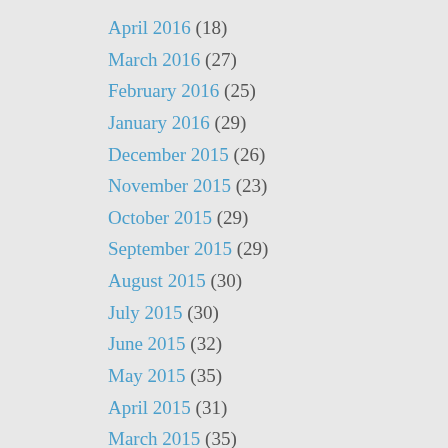April 2016 (18)
March 2016 (27)
February 2016 (25)
January 2016 (29)
December 2015 (26)
November 2015 (23)
October 2015 (29)
September 2015 (29)
August 2015 (30)
July 2015 (30)
June 2015 (32)
May 2015 (35)
April 2015 (31)
March 2015 (35)
February 2015 (21)
January 2015 (22)
December 2014 (6)
October 2014 (1)
September 2014 (6)
August 2014 (13)